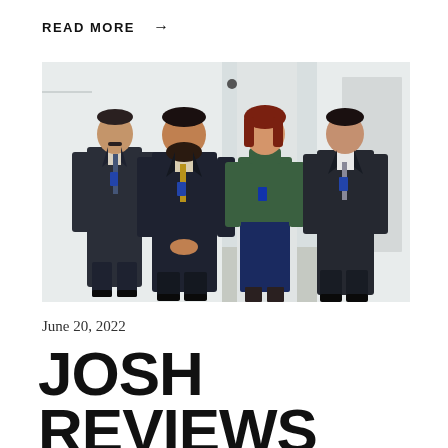READ MORE →
[Figure (photo): Four people (three men and one woman) standing in a row against a white office wall. The woman is wearing a green turtleneck top and blue skirt. The men are wearing dark suits with ties and blue lanyards/badges.]
June 20, 2022
JOSH REVIEWS SEVERANCE